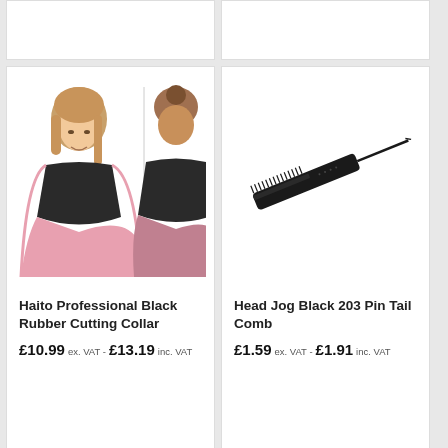[Figure (photo): Top portion of two product cards cut off at the top of the page]
[Figure (photo): Haito Professional Black Rubber Cutting Collar shown on a woman from front and back views]
Haito Professional Black Rubber Cutting Collar
£10.99 ex. VAT - £13.19 inc. VAT
[Figure (photo): Head Jog Black 203 Pin Tail Comb shown on white background]
Head Jog Black 203 Pin Tail Comb
£1.59 ex. VAT - £1.91 inc. VAT